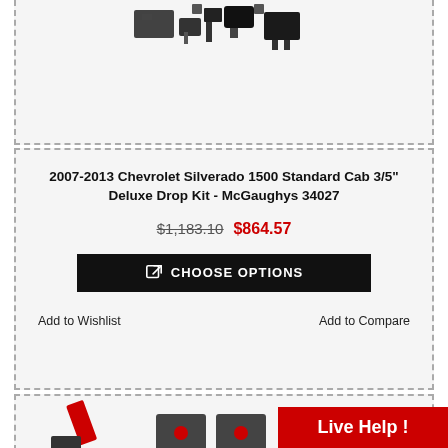[Figure (photo): Partial view of automotive drop kit parts (black metal brackets and components) - top of product card cut off]
2007-2013 Chevrolet Silverado 1500 Standard Cab 3/5" Deluxe Drop Kit - McGaughys 34027
$1,183.10  $864.57
CHOOSE OPTIONS
Add to Wishlist
Add to Compare
[Figure (photo): Automotive lowering drop kit with black shock absorbers, spindles, and hardware components]
Live Help !